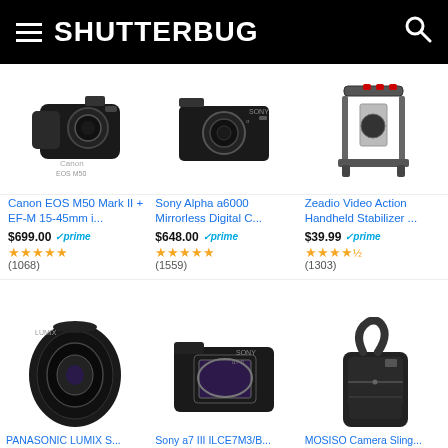SHUTTERBUG
[Figure (photo): Canon EOS M50 Mark II camera with EF-M 15-45mm lens]
Canon EOS M50 Mark II + EF-M 15-45mm i...
$699.00 ✓prime
★★★★★ (1068)
[Figure (photo): Sony Alpha a6000 Mirrorless Digital Camera]
Sony Alpha a6000 Mirrorless Digital C...
$648.00 ✓prime
★★★★★ (1559)
[Figure (photo): Zeadio Video Action Handheld Stabilizer camera cage]
Zeadio Video Action Handheld Stabilizer ...
$39.99 ✓prime
★★★★½ (1303)
[Figure (photo): PANASONIC LUMIX S lens]
[Figure (photo): Sony a7 III / ILCE7M3/B camera body]
[Figure (photo): MOSISO Camera Sling bag]
PANASONIC LUMIX S...
Sony a7 III ILCE7M3/B...
MOSISO Camera Sling...